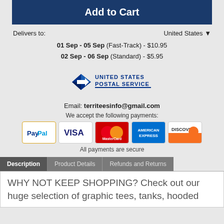Add to Cart
Delivers to:  United States
01 Sep - 05 Sep (Fast-Track) - $10.95
02 Sep - 06 Sep (Standard) - $5.95
[Figure (logo): United States Postal Service logo]
Email: territeesinfo@gmail.com
We accept the following payments:
[Figure (infographic): Payment icons: PayPal, Visa, MasterCard, American Express, Discover]
All payments are secure
Description | Product Details | Refunds and Returns
WHY NOT KEEP SHOPPING? Check out our huge selection of graphic tees, tanks, hooded pullover and more.